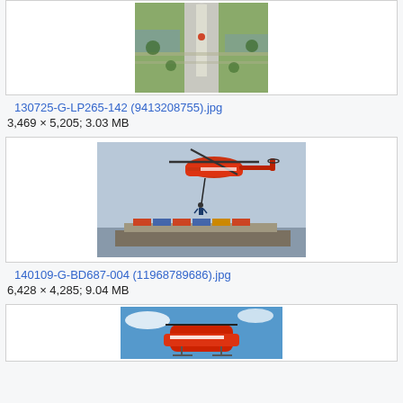[Figure (photo): Aerial view of Washington Monument and surrounding grounds, partial view at top of page]
130725-G-LP265-142 (9413208755).jpg
3,469 × 5,205; 3.03 MB
[Figure (photo): Coast Guard helicopter performing a rescue operation above a cargo ship at sea, rescuer hanging from hoist]
140109-G-BD687-004 (11968789686).jpg
6,428 × 4,285; 9.04 MB
[Figure (photo): Red Coast Guard helicopter in flight against blue sky, partial view at bottom of page]